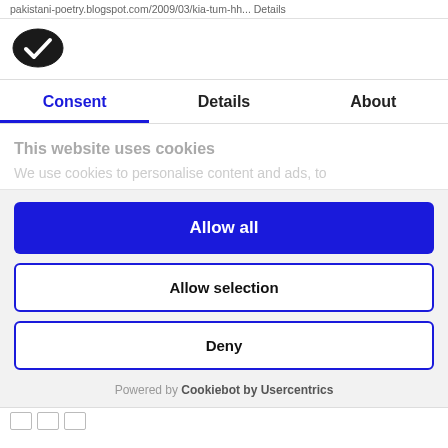pakistani-poetry.blogspot.com/2009/03/kia-tum-hh... Details
[Figure (logo): Cookiebot logo - dark oval with white checkmark inside]
Consent | Details | About
This website uses cookies
We use cookies to personalise content and ads, to
Allow all
Allow selection
Deny
Powered by Cookiebot by Usercentrics